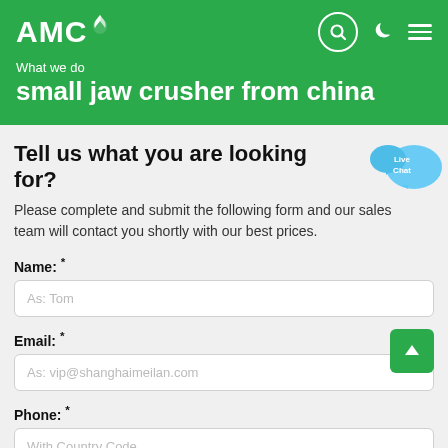AMC
What we do
small jaw crusher from china
Tell us what you are looking for?
Please complete and submit the following form and our sales team will contact you shortly with our best prices.
Name: *
As: Tom
Email: *
As: vip@shanghaimeilan.com
Phone: *
With Country Code